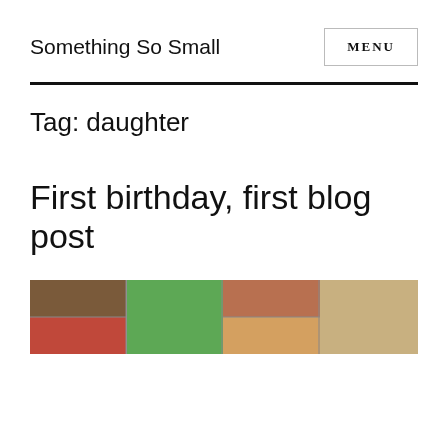Something So Small
MENU
Tag: daughter
First birthday, first blog post
[Figure (photo): A collage/strip of birthday photos showing children at a birthday party with green decorations]